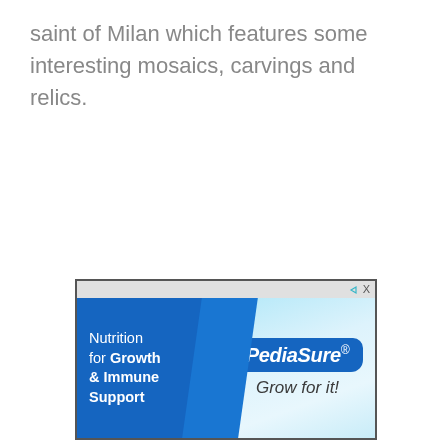saint of Milan which features some interesting mosaics, carvings and relics.
[Figure (other): Advertisement banner for PediaSure. Left side has blue background with white text 'Nutrition for Growth & Immune Support'. Right side shows the PediaSure logo in a rounded badge and the tagline 'Grow for it!' in cursive script.]